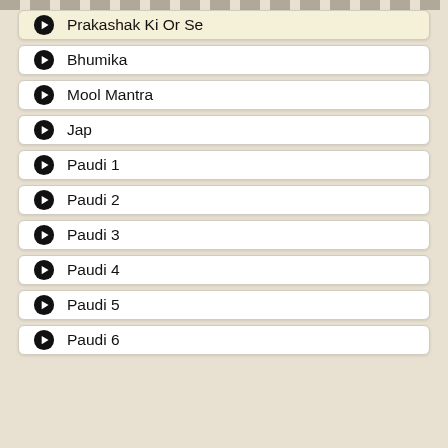Prakashak Ki Or Se
Bhumika
Mool Mantra
Jap
Paudi 1
Paudi 2
Paudi 3
Paudi 4
Paudi 5
Paudi 6